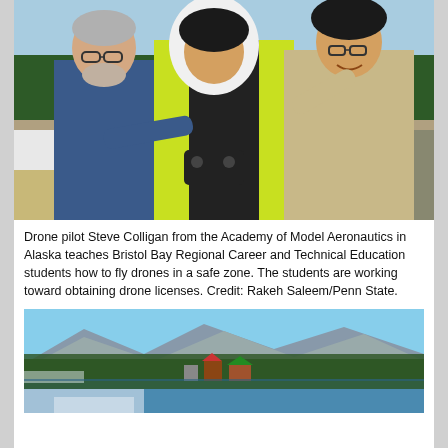[Figure (photo): Three people outdoors in a snowy Alaskan setting with pine trees in the background. An older man in a blue jacket on the left hands a drone controller to a young man in a yellow safety vest and white hoodie in the center. A second smiling young man wearing glasses and a tan hoodie stands on the right.]
Drone pilot Steve Colligan from the Academy of Model Aeronautics in Alaska teaches Bristol Bay Regional Career and Technical Education students how to fly drones in a safe zone. The students are working toward obtaining drone licenses. Credit: Rakeh Saleem/Penn State.
[Figure (photo): Aerial landscape photo of a small Alaskan town or village situated along a lake or river, surrounded by pine forests and distant snow-capped mountains. Several buildings with colorful roofs are visible among the trees, with a partially frozen body of water in the foreground.]